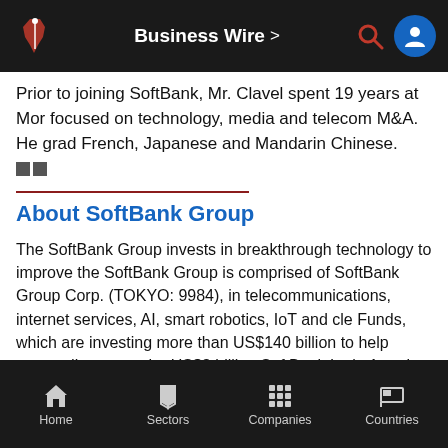Business Wire >
Prior to joining SoftBank, Mr. Clavel spent 19 years at Mor focused on technology, media and telecom M&A. He grad French, Japanese and Mandarin Chinese.
About SoftBank Group
The SoftBank Group invests in breakthrough technology to improve the SoftBank Group is comprised of SoftBank Group Corp. (TOKYO: 9984), in telecommunications, internet services, AI, smart robotics, IoT and cle Funds, which are investing more than US$140 billion to help extraordina ones; the US$8 billion SoftBank Latin America Funds; and investments Opportunity Fund, a US$100+ million fund investing in Black, Latinx and Advisers' global Emerge program. To learn more, please visit https://gr
View source version on businesswire.com: https://www.businesswire.c
Home  Sectors  Companies  Countries